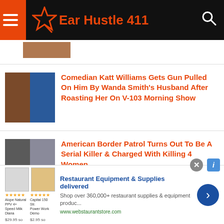Ear Hustle 411
Comedian Katt Williams Gets Gun Pulled On Him By Wanda Smith's Husband After Roasting Her On V-103 Morning Show
American Border Patrol Turns Out To Be A Serial Killer & Charged With Killing 4 Women
[Video] Police Knocks down Hispanic Man's Door With No Warrant Points...
Restaurant Equipment & Supplies delivered
Shop over 360,000+ restaurant supplies & equipment produc...
www.webstaurantstore.com